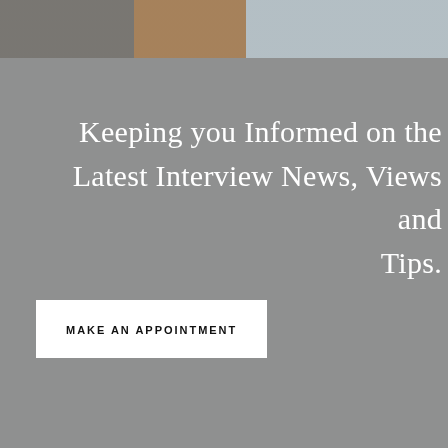[Figure (photo): A blurred/cropped photo strip at the top showing an office or meeting room background with gray, brown and light blue tones.]
Keeping you Informed on the Latest Interview News, Views and Tips.
MAKE AN APPOINTMENT